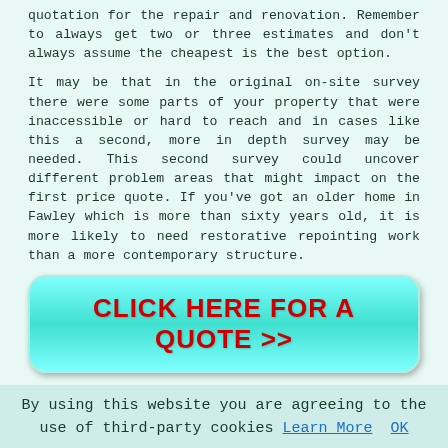quotation for the repair and renovation. Remember to always get two or three estimates and don't always assume the cheapest is the best option.
It may be that in the original on-site survey there were some parts of your property that were inaccessible or hard to reach and in cases like this a second, more in depth survey may be needed. This second survey could uncover different problem areas that might impact on the first price quote. If you've got an older home in Fawley which is more than sixty years old, it is more likely to need restorative repointing work than a more contemporary structure.
[Figure (other): Cyan rounded button with red bold text: CLICK HERE FOR A QUOTE >>]
Repointing work can start once the trouble spots have been detected and discussed with the owner of the property. Most homes will need to have scaffolding erected to establish a stable platform for the bricklayer or repointing specialists. An arrangement of protective sheeting or
By using this website you are agreeing to the use of third-party cookies Learn More  OK